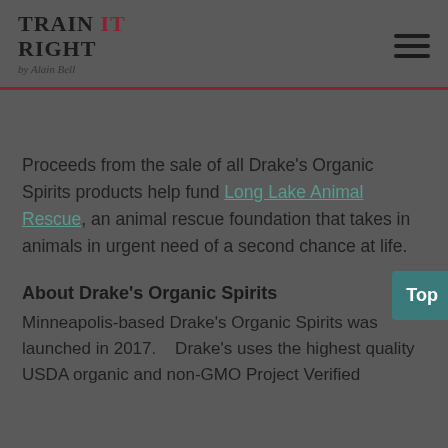Train It Right by Alain Bell
Proceeds from the sale of all Drake's Organic Spirits products help fund Long Lake Animal Rescue, an animal rescue foundation that takes in animals in urgent need of a second chance at life.
About Drake's Organic Spirits
Minneapolis-based Drake's Organic Spirits was launched in 2017.   Drake's uses the highest quality USDA organic and non-GMO Project Verified